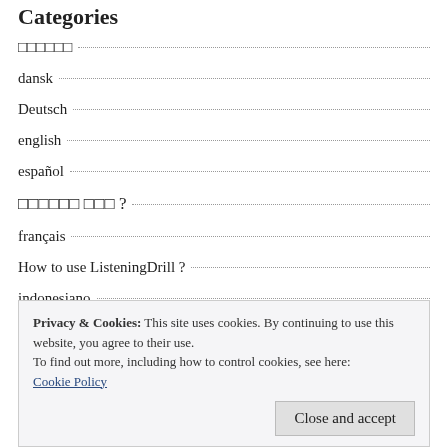Categories
（tofu）
dansk
Deutsch
english
español
（tofu tofu）?
français
How to use ListeningDrill ?
indonesiano
Privacy & Cookies: This site uses cookies. By continuing to use this website, you agree to their use.
To find out more, including how to control cookies, see here:
Cookie Policy
Malaysia